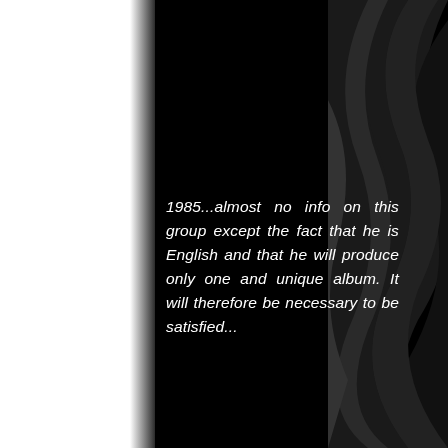[Figure (photo): Dark abstract background image with sweeping black curved shapes on the right side, and a white strip on the left edge. The center is predominantly black.]
1985...almost no info on this group except the fact that he is English and that he will produce only one and unique album. It will therefore be necessary to be satisfied...